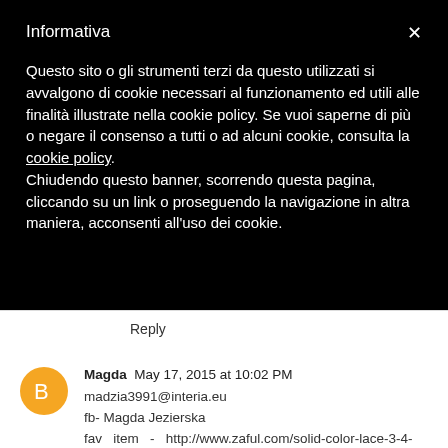Informativa
Questo sito o gli strumenti terzi da questo utilizzati si avvalgono di cookie necessari al funzionamento ed utili alle finalità illustrate nella cookie policy. Se vuoi saperne di più o negare il consenso a tutti o ad alcuni cookie, consulta la cookie policy. Chiudendo questo banner, scorrendo questa pagina, cliccando su un link o proseguendo la navigazione in altra maniera, acconsenti all'uso dei cookie.
Reply
Magda  May 17, 2015 at 10:02 PM
madzia3991@interia.eu
fb- Magda Jezierska
fav item - http://www.zaful.com/solid-color-lace-3-4-sleeves-dress-p_35102.html
Reply